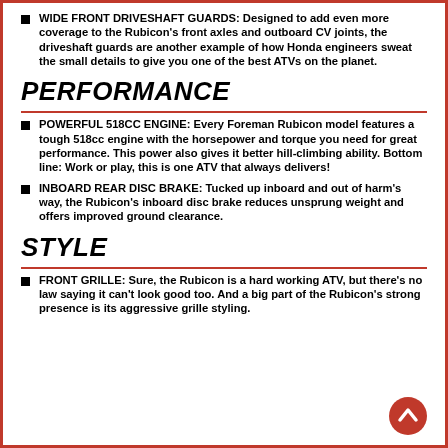WIDE FRONT DRIVESHAFT GUARDS: Designed to add even more coverage to the Rubicon's front axles and outboard CV joints, the driveshaft guards are another example of how Honda engineers sweat the small details to give you one of the best ATVs on the planet.
PERFORMANCE
POWERFUL 518CC ENGINE: Every Foreman Rubicon model features a tough 518cc engine with the horsepower and torque you need for great performance. This power also gives it better hill-climbing ability. Bottom line: Work or play, this is one ATV that always delivers!
INBOARD REAR DISC BRAKE: Tucked up inboard and out of harm's way, the Rubicon's inboard disc brake reduces unsprung weight and offers improved ground clearance.
STYLE
FRONT GRILLE: Sure, the Rubicon is a hard working ATV, but there's no law saying it can't look good too. And a big part of the Rubicon's strong presence is its aggressive grille styling.